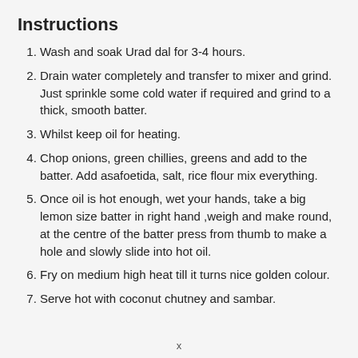Instructions
Wash and soak Urad dal for 3-4 hours.
Drain water completely and transfer to mixer and grind. Just sprinkle some cold water if required and grind to a thick, smooth batter.
Whilst keep oil for heating.
Chop onions, green chillies, greens and add to the batter. Add asafoetida, salt, rice flour mix everything.
Once oil is hot enough, wet your hands, take a big lemon size batter in right hand ,weigh and make round, at the centre of the batter press from thumb to make a hole and slowly slide into hot oil.
Fry on medium high heat till it turns nice golden colour.
Serve hot with coconut chutney and sambar.
x